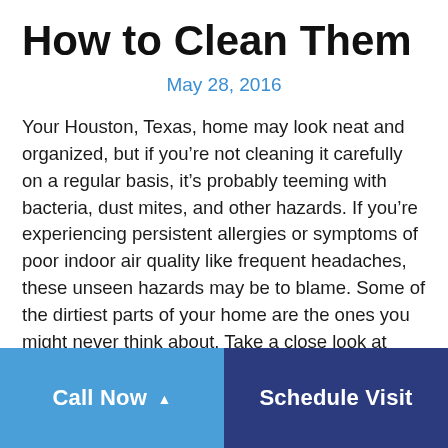How to Clean Them
May 28, 2016
Your Houston, Texas, home may look neat and organized, but if you’re not cleaning it carefully on a regular basis, it’s probably teeming with bacteria, dust mites, and other hazards. If you’re experiencing persistent allergies or symptoms of poor indoor air quality like frequent headaches, these unseen hazards may be to blame. Some of the dirtiest parts of your home are the ones you might never think about. Take a close look at these spots and adjust your cleaning routines to
Call Now ▲
Schedule Visit